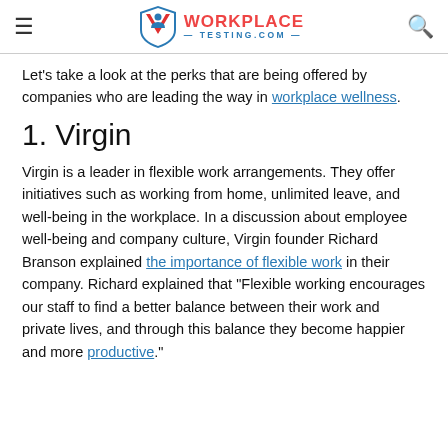WORKPLACETESTING.COM
Let's take a look at the perks that are being offered by companies who are leading the way in workplace wellness.
1. Virgin
Virgin is a leader in flexible work arrangements. They offer initiatives such as working from home, unlimited leave, and well-being in the workplace. In a discussion about employee well-being and company culture, Virgin founder Richard Branson explained the importance of flexible work in their company. Richard explained that "Flexible working encourages our staff to find a better balance between their work and private lives, and through this balance they become happier and more productive."